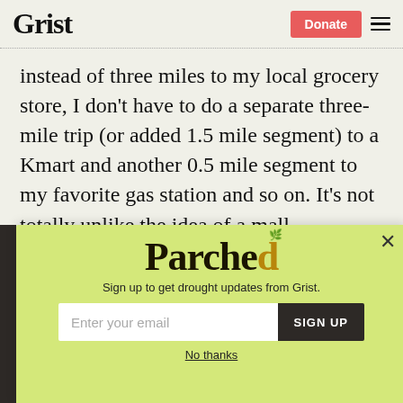Grist | Donate
instead of three miles to my local grocery store, I don’t have to do a separate three-mile trip (or added 1.5 mile segment) to a Kmart and another 0.5 mile segment to my favorite gas station and so on. It’s not totally unlike the idea of a mall.
[Figure (screenshot): Parched newsletter signup popup with email input and SIGN UP button on a yellow-green background. Text: 'Sign up to get drought updates from Grist.' with 'No thanks' link below.]